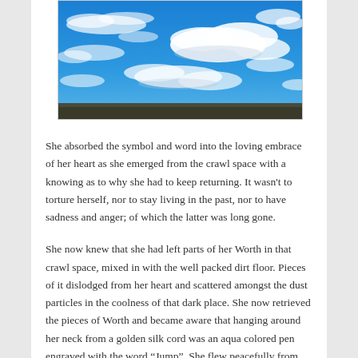[Figure (photo): Photograph of a vivid blue sky with scattered white clouds, landscape orientation, showing a dramatic cloudscape with a thin strip of land/horizon at the bottom.]
She absorbed the symbol and word into the loving embrace of her heart as she emerged from the crawl space with a knowing as to why she had to keep returning. It wasn't to torture herself, nor to stay living in the past, nor to have sadness and anger; of which the latter was long gone.
She now knew that she had left parts of her Worth in that crawl space, mixed in with the well packed dirt floor. Pieces of it dislodged from her heart and scattered amongst the dust particles in the coolness of that dark place. She now retrieved the pieces of Worth and became aware that hanging around her neck from a golden silk cord was an aqua colored pen engraved with the word “Jump”. She flew peacefully from that crawl space on